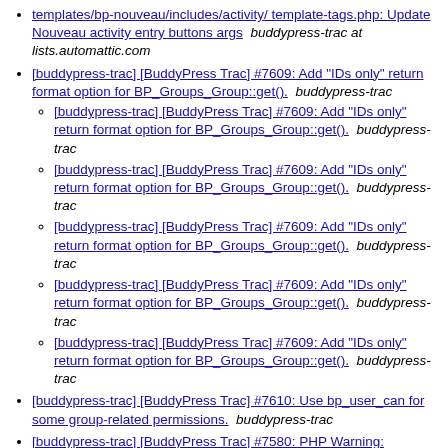templates/bp-nouveau/includes/activity/ template-tags.php: Update Nouveau activity entry buttons args   buddypress-trac at lists.automattic.com
[buddypress-trac] [BuddyPress Trac] #7609: Add "IDs only" return format option for BP_Groups_Group::get().  buddypress-trac (with 5 sub-items)
[buddypress-trac] [BuddyPress Trac] #7610: Use bp_user_can for some group-related permissions.  buddypress-trac
[buddypress-trac] [BuddyPress Trac] #7580: PHP Warning: